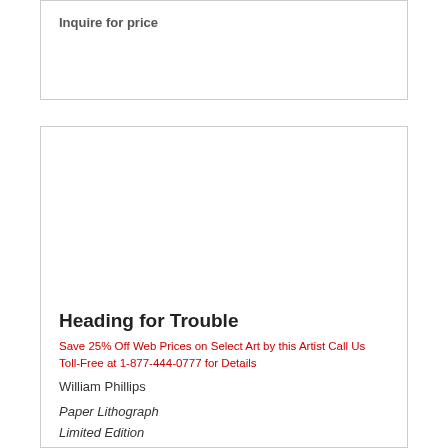Inquire for price
[Figure (photo): Empty image area for artwork]
Heading for Trouble
Save 25% Off Web Prices on Select Art by this Artist Call Us Toll-Free at 1-877-444-0777 for Details
William Phillips
Paper Lithograph
Limited Edition
1000 S/N
12 1/2 x 16 3/4
Inquire for price